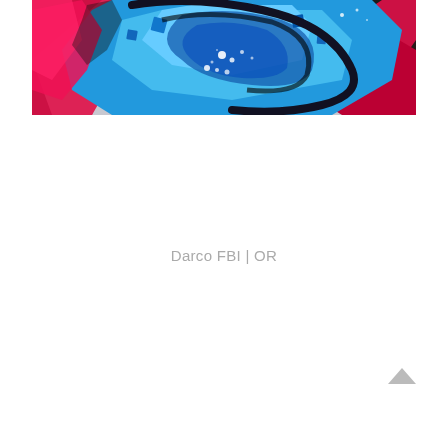[Figure (photo): Close-up photograph of colorful graffiti art featuring bold blue, red/pink, and black spray-painted shapes resembling an abstract eye or character. The artwork shows vivid blue as the dominant color with red/magenta outlines and black accents, with white highlight spots.]
Darco FBI | OR